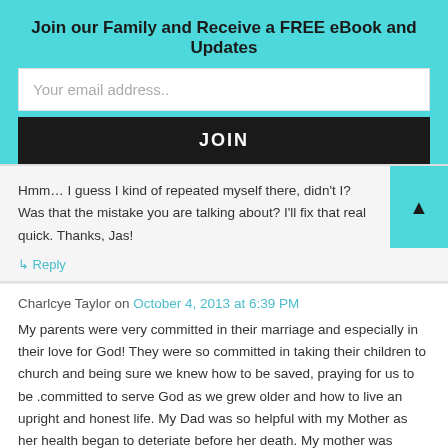Join our Family and Receive a FREE eBook and Updates
Your email address..
JOIN
Hmm… I guess I kind of repeated myself there, didn't I? Was that the mistake you are talking about? I'll fix that real quick. Thanks, Jas!
↳ Reply
Charlcye Taylor on October 4, 2013 at 6:39 PM
My parents were very committed in their marriage and especially in their love for God! They were so committed in taking their children to church and being sure we knew how to be saved, praying for us to be .committed to serve God as we grew older and how to live an upright and honest life. My Dad was so helpful with my Mother as her health began to deteriate before her death. My mother was sitting at her sewing machine working on pajamas for my three daughters